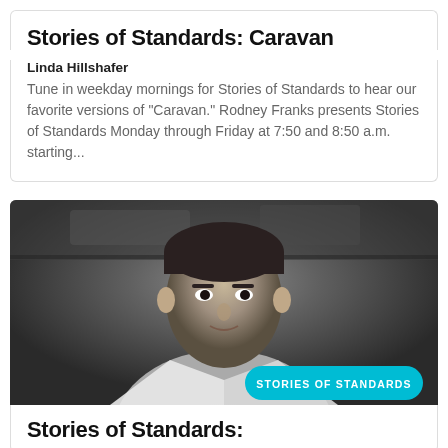Stories of Standards: Caravan
Linda Hillshafer
Tune in weekday mornings for Stories of Standards to hear our favorite versions of "Caravan." Rodney Franks presents Stories of Standards Monday through Friday at 7:50 and 8:50 a.m. starting...
[Figure (photo): Black and white portrait photo of a man in a white jacket and bow tie, with a teal 'STORIES OF STANDARDS' badge overlay in the lower right]
Stories of Standards: